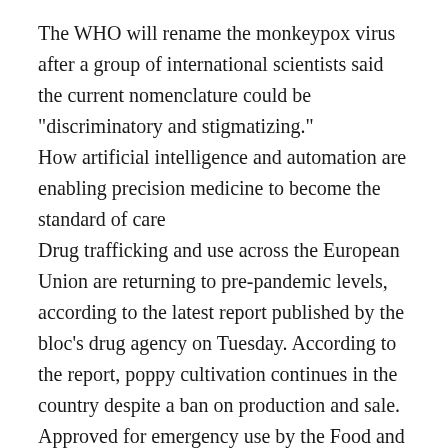The WHO will rename the monkeypox virus after a group of international scientists said the current nomenclature could be "discriminatory and stigmatizing."
How artificial intelligence and automation are enabling precision medicine to become the standard of care
Drug trafficking and use across the European Union are returning to pre-pandemic levels, according to the latest report published by the bloc's drug agency on Tuesday. According to the report, poppy cultivation continues in the country despite a ban on production and sale.
Approved for emergency use by the Food and Drug Administration, Paxlovid is an antiviral pill used to